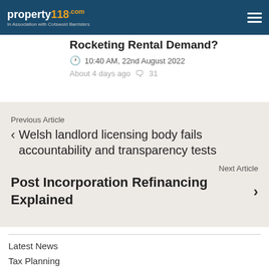property118.com — In Association with Cotswold Barristers
Rocketing Rental Demand?
10:40 AM, 22nd August 2022
About 4 days ago  31
Previous Article
Welsh landlord licensing body fails accountability and transparency tests
Next Article
Post Incorporation Refinancing Explained
Latest News
Tax Planning